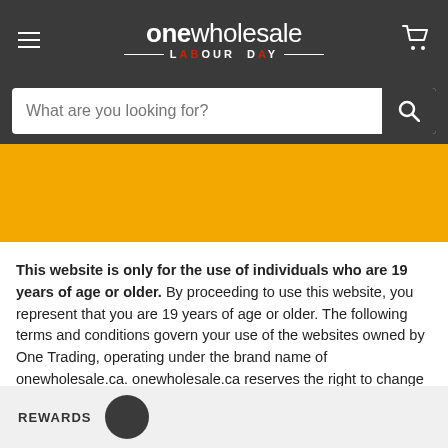onewholesale LABOUR DAY
[Figure (screenshot): Search bar with placeholder text 'What are you looking for?' and a search icon button]
[Figure (illustration): Yellow/gold banner area]
This website is only for the use of individuals who are 19 years of age or older. By proceeding to use this website, you represent that you are 19 years of age or older. The following terms and conditions govern your use of the websites owned by One Trading, operating under the brand name of onewholesale.ca. onewholesale.ca reserves the right to change the Terms of Use at any time without prior notice. Your continued use of the Terms and Conditions of Use on
REWARDS